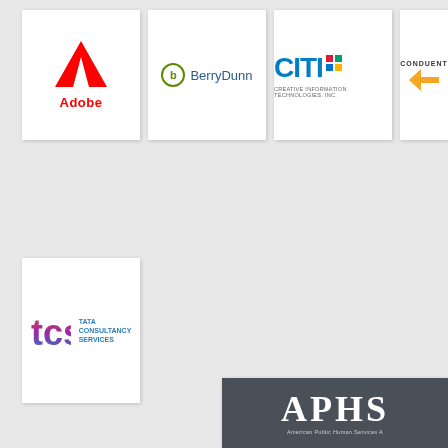[Figure (logo): Adobe logo - red A triangle with word Adobe below in red]
[Figure (logo): BerryDunn logo - green circle b icon with BerryDunn text in blue]
[Figure (logo): CITI logo - blue letters CITI with colored grid squares and tagline]
[Figure (logo): Conduent logo - CONDUENT text with orange arrow/chevron icon]
[Figure (logo): TCS - Tata Consultancy Services logo in gradient colors]
[Figure (logo): APHS - American Public Human Services Association logo on dark background, partially visible]